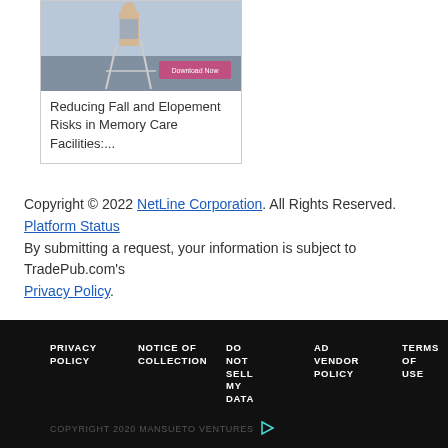[Figure (photo): Card with photo of person with walker and a pink 'Download Now' button overlay]
Reducing Fall and Elopement Risks in Memory Care Facilities:...
Copyright © 2022 NetLine Corporation. All Rights Reserved. Platform Status
By submitting a request, your information is subject to TradePub.com's Privacy Policy.
PRIVACY POLICY   NOTICE OF COLLECTION   DO NOT SELL MY DATA   AD VENDOR POLICY   TERMS OF USE   ADVERTI...
COPYRIGHT 2020 MANSUETO VENTURES